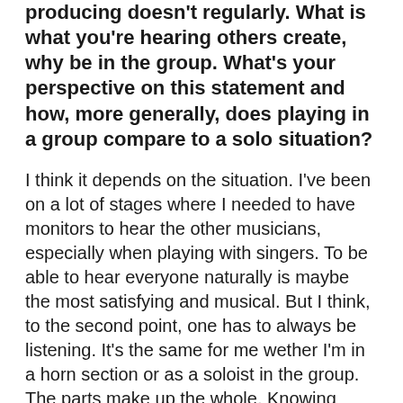producing doesn't regularly. What is what you're hearing others create, why be in the group. What's your perspective on this statement and how, more generally, does playing in a group compare to a solo situation?
I think it depends on the situation. I've been on a lot of stages where I needed to have monitors to hear the other musicians, especially when playing with singers. To be able to hear everyone naturally is maybe the most satisfying and musical. But I think, to the second point, one has to always be listening. It's the same for me wether I'm in a horn section or as a soloist in the group. The parts make up the whole. Knowing when to respond musically or to leave space is very important and moment to moment.
If I am actually doing a solo performance, the listening can be how my sound is reverberating in the room and playing off of that, or if I'm layering things or using effects, how those different sonic textures respond